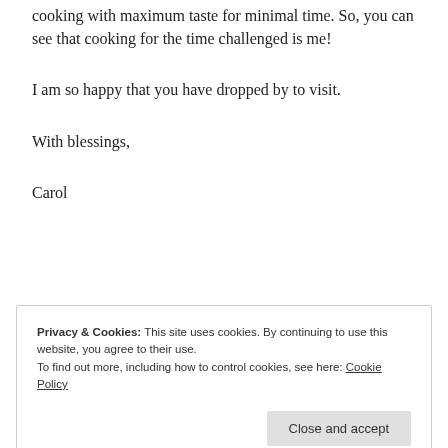cooking with maximum taste for minimal time. So, you can see that cooking for the time challenged is me!
I am so happy that you have dropped by to visit.
With blessings,
Carol
[Figure (screenshot): Advertisement banner: 'Post on the go.' with GET THE APP button and WordPress logo]
REPORT THIS AD
Privacy & Cookies: This site uses cookies. By continuing to use this website, you agree to their use. To find out more, including how to control cookies, see here: Cookie Policy
Close and accept